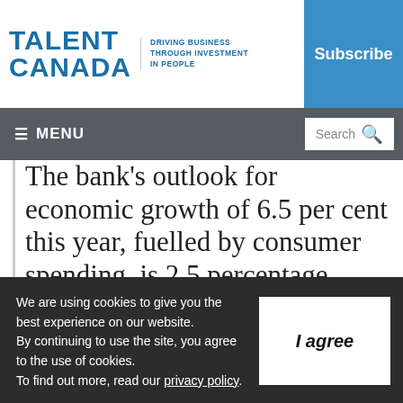TALENT CANADA — DRIVING BUSINESS THROUGH INVESTMENT IN PEOPLE
The bank's outlook for economic growth of 6.5 per cent this year, fuelled by consumer spending, is 2.5 percentage points higher than its last quarterly outlook and rosier than the 5.8 per cent predicted in the federal budget on
We are using cookies to give you the best experience on our website. By continuing to use the site, you agree to the use of cookies. To find out more, read our privacy policy.